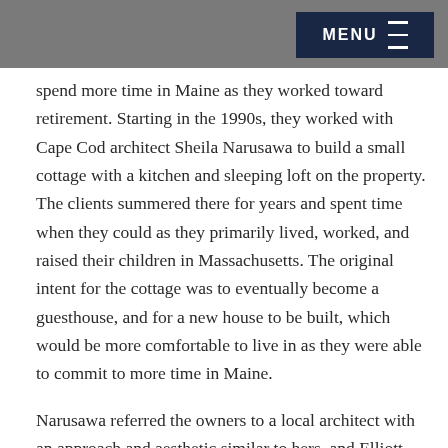MENU
spend more time in Maine as they worked toward retirement. Starting in the 1990s, they worked with Cape Cod architect Sheila Narusawa to build a small cottage with a kitchen and sleeping loft on the property. The clients summered there for years and spent time when they could as they primarily lived, worked, and raised their children in Massachusetts. The original intent for the cottage was to eventually become a guesthouse, and for a new house to be built, which would be more comfortable to live in as they were able to commit to more time in Maine.
Narusawa referred the owners to a local architect with an approach and aesthetic similar to hers, and Elliott Architects worked with the team to station a location here. The